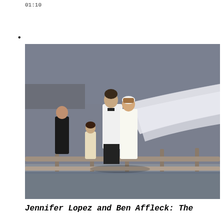01:10
•
[Figure (photo): Wedding photo of a man in white suit with bow tie and a woman in white wedding dress with a long flowing veil, walking on a bridge/walkway with wooden railings. Several other people in the background including children and another woman in black.]
Jennifer Lopez and Ben Affleck: The